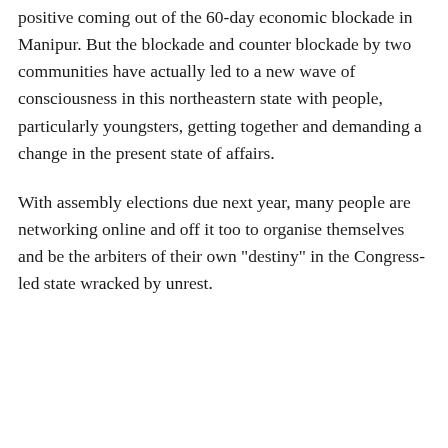positive coming out of the 60-day economic blockade in Manipur. But the blockade and counter blockade by two communities have actually led to a new wave of consciousness in this northeastern state with people, particularly youngsters, getting together and demanding a change in the present state of affairs.
With assembly elections due next year, many people are networking online and off it too to organise themselves and be the arbiters of their own "destiny" in the Congress-led state wracked by unrest.